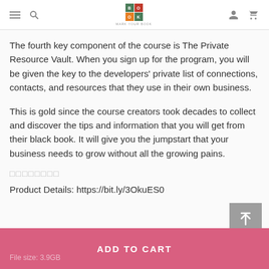MARK YOUR BOOK
The fourth key component of the course is The Private Resource Vault. When you sign up for the program, you will be given the key to the developers' private list of connections, contacts, and resources that they use in their own business.
This is gold since the course creators took decades to collect and discover the tips and information that you will get from their black book. It will give you the jumpstart that your business needs to grow without all the growing pains.
□□□□□□□□
Product Details: https://bit.ly/3OkuES0
ADD TO CART
File size: 3.9GB